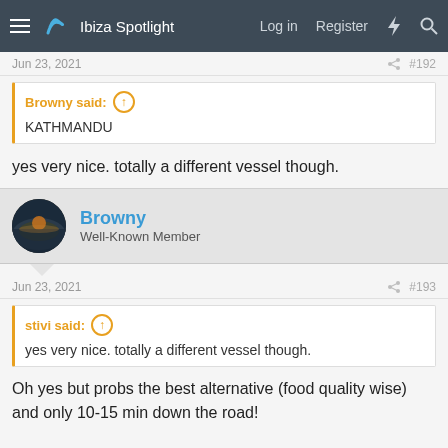Ibiza Spotlight — Log in  Register
Jun 23, 2021  #192
Browny said: ↑
KATHMANDU
yes very nice. totally a different vessel though.
Browny
Well-Known Member
Jun 23, 2021  #193
stivi said: ↑
yes very nice. totally a different vessel though.
Oh yes but probs the best alternative (food quality wise) and only 10-15 min down the road!